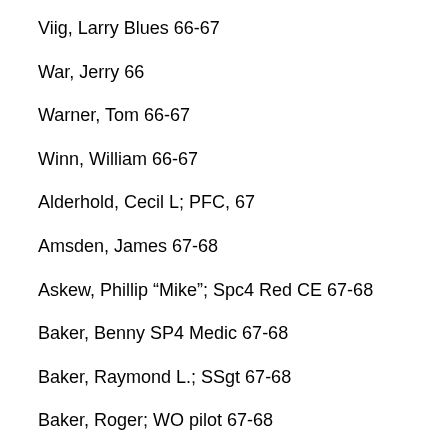Viig, Larry Blues 66-67
War, Jerry 66
Warner, Tom 66-67
Winn, William 66-67
Alderhold, Cecil L; PFC, 67
Amsden, James 67-68
Askew, Phillip “Mike”; Spc4 Red CE 67-68
Baker, Benny SP4 Medic 67-68
Baker, Raymond L.; SSgt 67-68
Baker, Roger; WO pilot 67-68
Barber, Louis R. Jr.; 1Lt, RED; 67-68